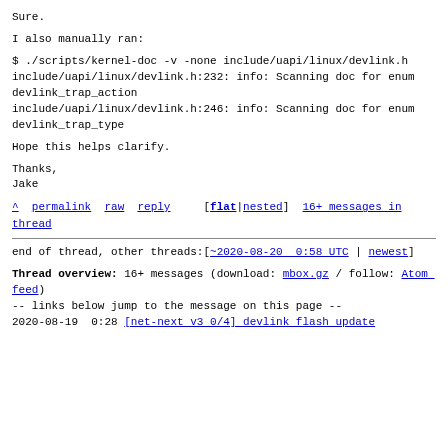Sure.
I also manually ran:
$ ./scripts/kernel-doc -v -none include/uapi/linux/devlink.h
include/uapi/linux/devlink.h:232: info: Scanning doc for enum
devlink_trap_action
include/uapi/linux/devlink.h:246: info: Scanning doc for enum
devlink_trap_type
Hope this helps clarify.
Thanks,
Jake
^ permalink  raw  reply    [flat|nested]  16+ messages in thread
end of thread, other threads:[~2020-08-20  0:58 UTC | newest]
Thread overview: 16+ messages (download: mbox.gz / follow: Atom feed)
-- links below jump to the message on this page --
2020-08-19  0:28 [net-next v3 0/4] devlink flash update